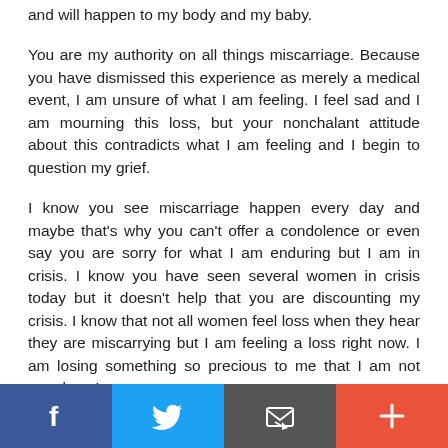and will happen to my body and my baby.
You are my authority on all things miscarriage. Because you have dismissed this experience as merely a medical event, I am unsure of what I am feeling. I feel sad and I am mourning this loss, but your nonchalant attitude about this contradicts what I am feeling and I begin to question my grief.
I know you see miscarriage happen every day and maybe that's why you can't offer a condolence or even say you are sorry for what I am enduring but I am in crisis. I know you have seen several women in crisis today but it doesn't help that you are discounting my crisis. I know that not all women feel loss when they hear they are miscarrying but I am feeling a loss right now. I am losing something so precious to me that I am not sure how I
[Figure (infographic): Social sharing bar with four buttons: Facebook (blue), Twitter (light blue), Email/envelope (dark gray), and More/plus (orange-red)]